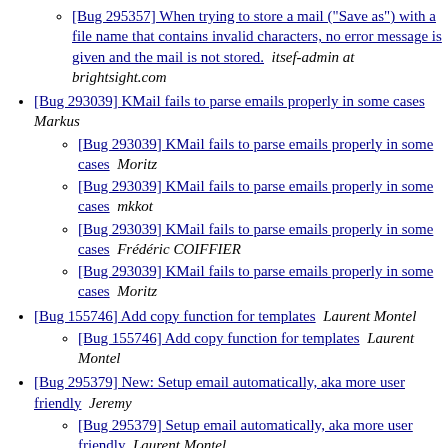[Bug 295357] When trying to store a mail ("Save as") with a file name that contains invalid characters, no error message is given and the mail is not stored.  itsef-admin at brightsight.com
[Bug 293039] KMail fails to parse emails properly in some cases  Markus
[Bug 293039] KMail fails to parse emails properly in some cases  Moritz
[Bug 293039] KMail fails to parse emails properly in some cases  mkkot
[Bug 293039] KMail fails to parse emails properly in some cases  Frédéric COIFFIER
[Bug 293039] KMail fails to parse emails properly in some cases  Moritz
[Bug 155746] Add copy function for templates  Laurent Montel
[Bug 155746] Add copy function for templates  Laurent Montel
[Bug 295379] New: Setup email automatically, aka more user friendly  Jeremy
[Bug 295379] Setup email automatically, aka more user friendly  Laurent Montel
[Bug 295379] Setup email automatically, aka more user friendly  Laurent Montel
[Bug 295379] Setup email automatically, aka more user friendly